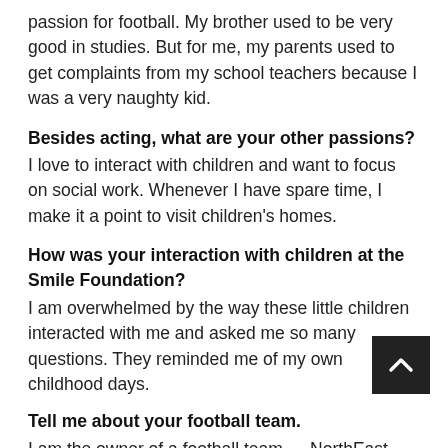passion for football. My brother used to be very good in studies. But for me, my parents used to get complaints from my school teachers because I was a very naughty kid.
Besides acting, what are your other passions?
I love to interact with children and want to focus on social work. Whenever I have spare time, I make it a point to visit children’s homes.
How was your interaction with children at the Smile Foundation?
I am overwhelmed by the way these little children interacted with me and asked me so many questions. They reminded me of my own childhood days.
Tell me about your football team.
I am the owner of a football team — NorthEast